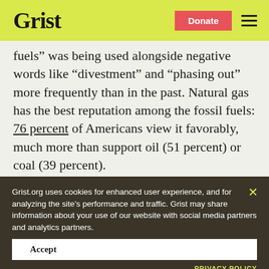Grist
fuels” was being used alongside negative words like “divestment” and “phasing out” more frequently than in the past. Natural gas has the best reputation among the fossil fuels: 76 percent of Americans view it favorably, much more than support oil (51 percent) or coal (39 percent).
Grist.org uses cookies for enhanced user experience, and for analyzing the site's performance and traffic. Grist may share information about your use of our website with social media partners and analytics partners.